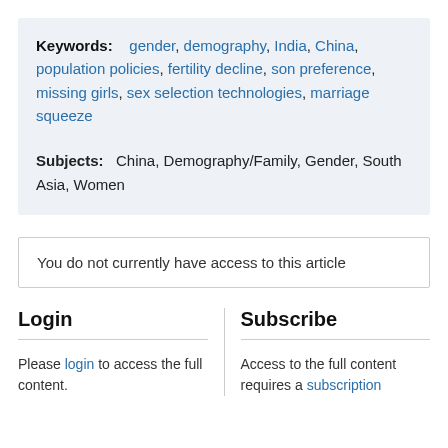Keywords: gender, demography, India, China, population policies, fertility decline, son preference, missing girls, sex selection technologies, marriage squeeze
Subjects: China, Demography/Family, Gender, South Asia, Women
You do not currently have access to this article
Login
Subscribe
Please login to access the full content.
Access to the full content requires a subscription